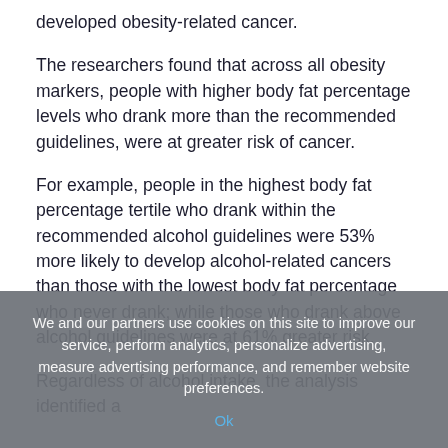developed obesity-related cancer.
The researchers found that across all obesity markers, people with higher body fat percentage levels who drank more than the recommended guidelines, were at greater risk of cancer.
For example, people in the highest body fat percentage tertile who drank within the recommended alcohol guidelines were 53% more likely to develop alcohol-related cancers than those with the lowest body fat percentage who never drank; while those who drank above alcohol guidelines were at 61% greater risk.
Regardless of alcohol intake, the analysis identified a
We and our partners use cookies on this site to improve our service, perform analytics, personalize advertising, measure advertising performance, and remember website preferences.
Ok